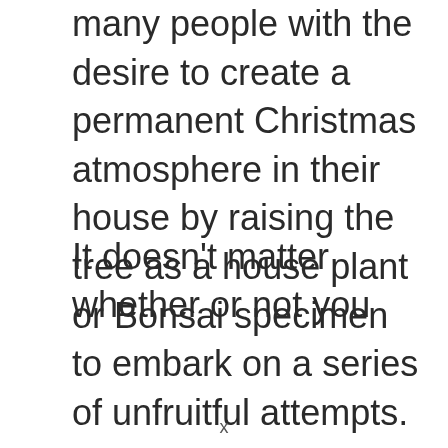many people with the desire to create a permanent Christmas atmosphere in their house by raising the tree as a house plant or Bonsai specimen to embark on a series of unfruitful attempts.
It doesn't matter whether or not you